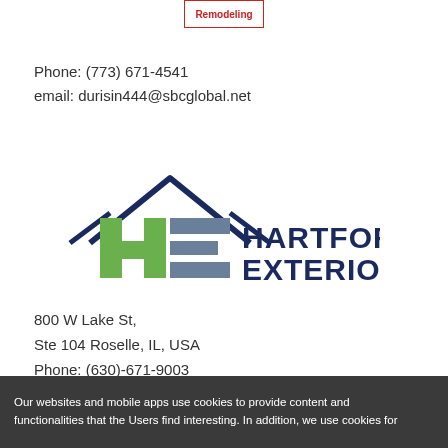[Figure (logo): Small red and white 'Remodeling' logo at top center]
Phone: (773) 671-4541
email: durisin444@sbcglobal.net
[Figure (logo): Hartford Exteriors logo with green and blue HE letters and dark blue house roofline above]
800 W Lake St,
Ste 104 Roselle, IL, USA
Phone: (630)-671-9003
email: hartfordexteriors@gmail.com
[Figure (logo): Partial red and dark logo at bottom of page]
Our websites and mobile apps use cookies to provide content and functionalities that the Users find interesting. In addition, we use cookies for